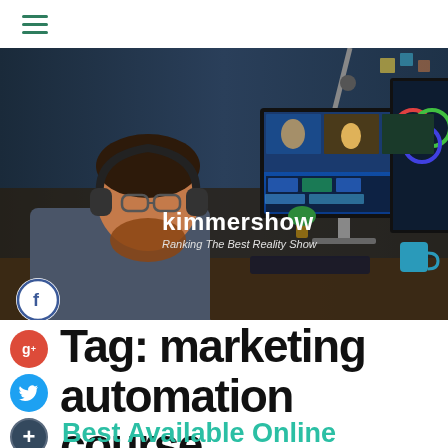kimmershow — Ranking The Best Reality Show
[Figure (photo): Person with headphones and beard working at dual monitors with video editing software; overlaid with site name 'kimmershow' and tagline 'Ranking The Best Reality Show']
Tag: marketing automation course
Best Available Online Marketing Courses That Will